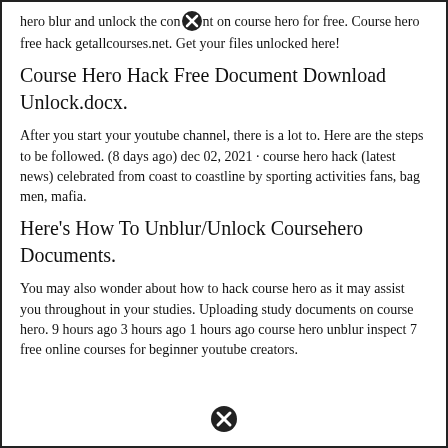hero blur and unlock the content on course hero for free. Course hero free hack getallcourses.net. Get your files unlocked here!
Course Hero Hack Free Document Download Unlock.docx.
After you start your youtube channel, there is a lot to. Here are the steps to be followed. (8 days ago) dec 02, 2021 · course hero hack (latest news) celebrated from coast to coastline by sporting activities fans, bag men, mafia.
Here's How To Unblur/Unlock Coursehero Documents.
You may also wonder about how to hack course hero as it may assist you throughout in your studies. Uploading study documents on course hero. 9 hours ago 3 hours ago 1 hours ago course hero unblur inspect 7 free online courses for beginner youtube creators.